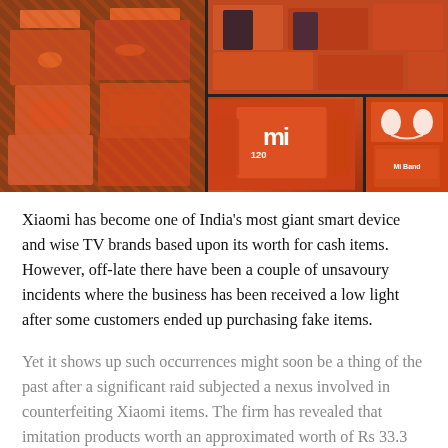[Figure (photo): Photo collage of counterfeit Xiaomi products — orange-colored boxes and packaging piled together, with Mi branding visible on some boxes]
Xiaomi has become one of India's most giant smart device and wise TV brands based upon its worth for cash items. However, off-late there have been a couple of unsavoury incidents where the business has been received a low light after some customers ended up purchasing fake items.
Yet it shows up such occurrences might soon be a thing of the past after a significant raid subjected a nexus involved in counterfeiting Xiaomi items. The firm has revealed that imitation products worth an approximated worth of Rs 33.3 lakhs were seized from four suppliers in Chennai and also three suppliers in Bengaluru during